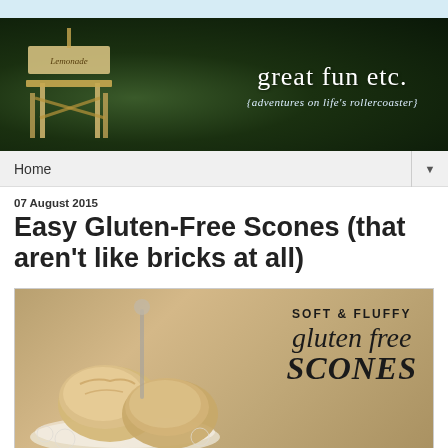[Figure (photo): Blog banner for 'great fun etc.' with dark green outdoor background showing a lemonade stand on the left and white text reading 'great fun etc.' and subtitle '{adventures on life's rollercoaster}']
Home ▼
07 August 2015
Easy Gluten-Free Scones (that aren't like bricks at all)
[Figure (photo): Photo of soft fluffy gluten-free scones on a doily plate, with text overlay reading 'SOFT & FLUFFY gluten free SCONES']